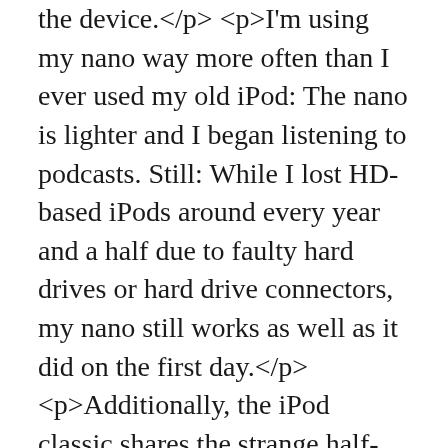the device.</p> <p>I'm using my nano way more often than I ever used my old iPod: The nano is lighter and I began listening to podcasts. Still: While I lost HD-based iPods around every year and a half due to faulty hard drives or hard drive connectors, my nano still works as well as it did on the first day.</p> <p>Additionally, the iPod classic shares the strange half-full-screen menu and it's only available in black or white. Nope. Not interesting. At least for me.</p> <p>The iPod touch is interesting because it has a really interesting user interface. But even there I have my doubts: For one, it's basically an iPhone without the phone. Will I buy an iPhone when (if) it becomes available in Switzerland? If yes, there's no need to buy the iPod Touch. If no,